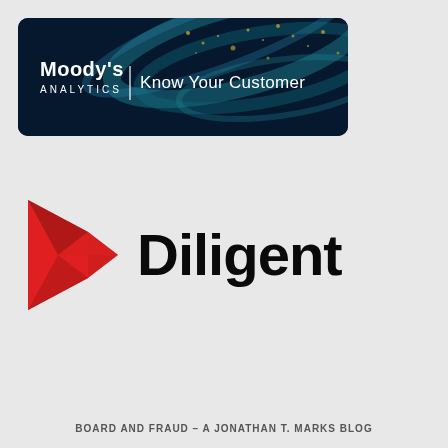[Figure (logo): Moody's Analytics Know Your Customer banner with dark background featuring blue and teal light streaks and golden particles. White text reads Moody's ANALYTICS with a vertical divider and Know Your Customer on the right.]
[Figure (logo): Diligent logo consisting of a red geometric D-shaped icon on the left and the word Diligent in bold black text on the right.]
BOARD AND FRAUD – A JONATHAN T. MARKS BLOG